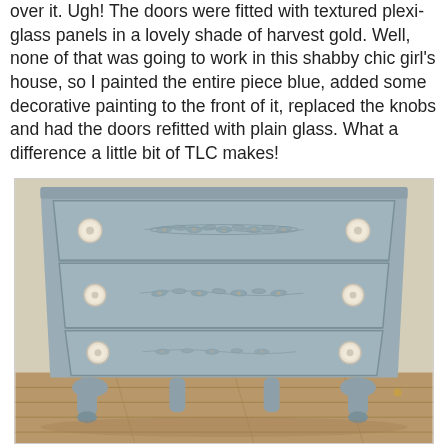over it. Ugh! The doors were fitted with textured plexi-glass panels in a lovely shade of harvest gold. Well, none of that was going to work in this shabby chic girl's house, so I painted the entire piece blue, added some decorative painting to the front of it, replaced the knobs and had the doors refitted with plain glass. What a difference a little bit of TLC makes!
[Figure (photo): A painted blue/grey dresser with three drawers, each featuring white ceramic knobs on both sides and decorative painted floral/vine motifs across the center. The dresser has curved legs and sits on a wooden floor against a wall.]